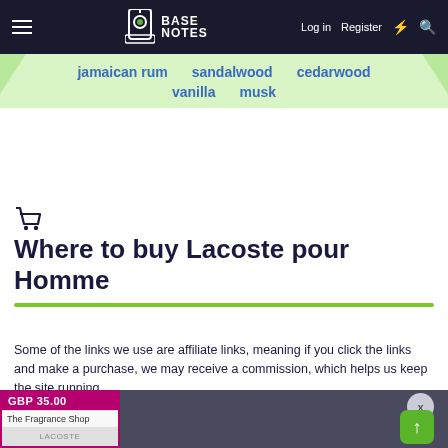BASE NOTES | Log in | Register
jamaican rum   sandalwood   cedarwood
vanilla   musk
Where to buy Lacoste pour Homme
Some of the links we use are affiliate links, meaning if you click the links and make a purchase, we may receive a commission, which helps us keep the site running
[Figure (other): Product listing card showing GBP 35.00 price tag, The Fragrance Shop label, and Lacoste pour Homme bottle image on a grey background, with X close button and green up arrow button]